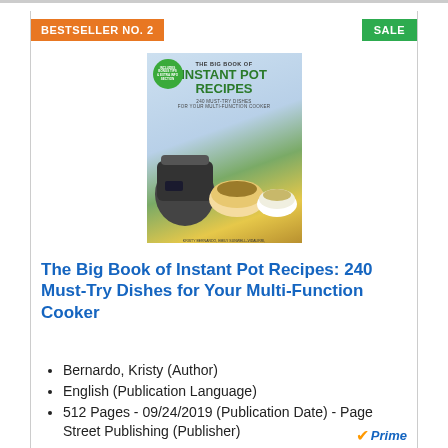BESTSELLER NO. 2
SALE
[Figure (photo): Book cover of 'The Big Book of Instant Pot Recipes: 240 Must-Try Dishes for Your Multi-Function Cooker' showing an Instant Pot pressure cooker and several bowls of food]
The Big Book of Instant Pot Recipes: 240 Must-Try Dishes for Your Multi-Function Cooker
Bernardo, Kristy (Author)
English (Publication Language)
512 Pages - 09/24/2019 (Publication Date) - Page Street Publishing (Publisher)